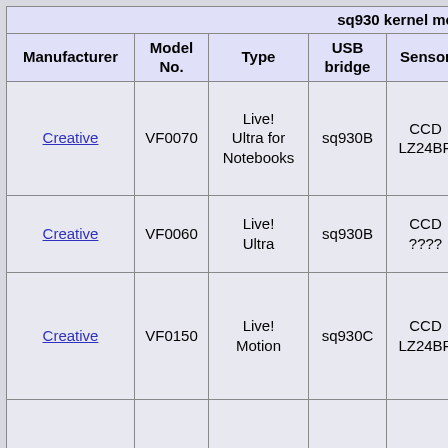| Manufacturer | Model No. | Type | USB bridge | Sensor | Lens |
| --- | --- | --- | --- | --- | --- |
| Creative | VF0070 | Live! Ultra for Notebooks | sq930B | CCD LZ24BP | w.a. f2.0-f2.9mm |
| Creative | VF0060 | Live! Ultra | sq930B | CCD ???? | ???? |
| Creative | VF0150 | Live! Motion | sq930C | CCD LZ24BP | ???? |
| Creative | VF0080 | Live! Pro | sq930C | ??? | ???? |
| Trust | WB-3500T | .. | sq930C | CMOS 1/7 "or 1/4" | ???? |